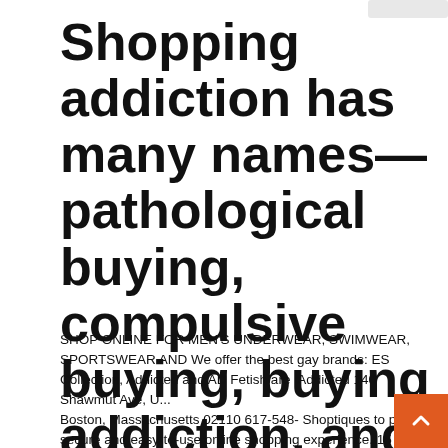Shopping addiction has many names—pathological buying, compulsive buying, buying addiction, and oniomania. An estimated 5 to 8% of Americans are thought to suffer from shopping addiction. A new
SHOP ONLINE FOR MEN'S UNDERWEAR, SWIMWEAR, SPORTSWEAR AND We offer the best gay brands: ES Collection, Addicted and AD Fetish are  Addicted 140 Shawmut Ave, U... Boston, Massachusetts 02110 617-548- Shoptiques to pro... secure and easy-to-use online shopping experience.  15 Nov